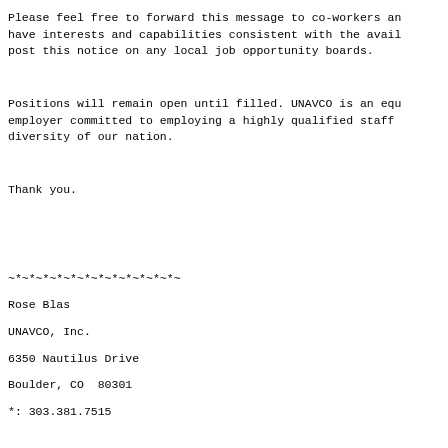Please feel free to forward this message to co-workers an
have interests and capabilities consistent with the avail
post this notice on any local job opportunity boards.
Positions will remain open until filled. UNAVCO is an equ
employer committed to employing a highly qualified staff
diversity of our nation.
Thank you.
~*~*~*~*~*~*~*~*~*~*~*~*~
Rose Blas
UNAVCO, Inc.
6350 Nautilus Drive
Boulder, CO  80301
*: 303.381.7515